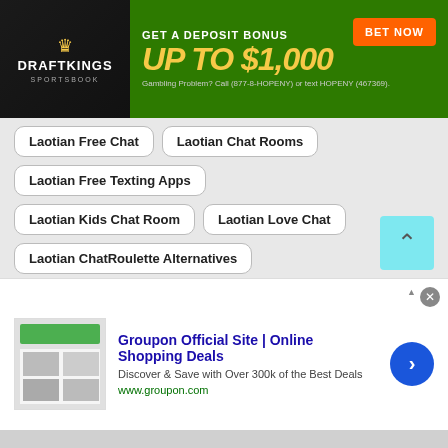[Figure (screenshot): DraftKings Sportsbook advertisement banner: Get a Deposit Bonus Up to $1,000 - BET NOW button, Gambling Problem? Call (877-8-HOPENY) or text HOPENY (467369).]
Laotian Free Chat
Laotian Chat Rooms
Laotian Free Texting Apps
Laotian Kids Chat Room
Laotian Love Chat
Laotian ChatRoulette Alternatives
Laotian Mobile Chat
Laotian Chat
Laotian Random Chat
Laotian Lesbian Chat
Laotian Singles Chat
Laotian Chat Random
Laotian Chit Chat with Strangers
[Figure (screenshot): Groupon Official Site | Online Shopping Deals advertisement. Discover & Save with Over 300k of the Best Deals. www.groupon.com]